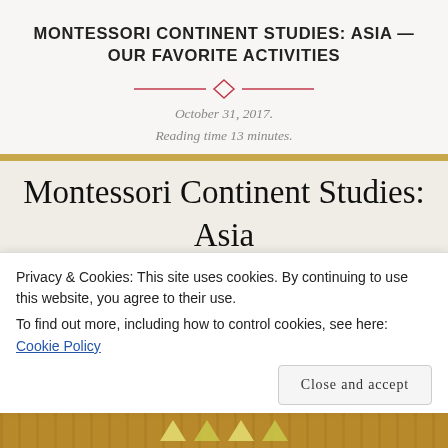MONTESSORI CONTINENT STUDIES: ASIA — OUR FAVORITE ACTIVITIES
October 31, 2017. Reading time 13 minutes.
[Figure (photo): Photo of a handmade classroom sign reading 'Montessori Continent Studies: Asia' on cream paper mounted on a wooden board with a gold/tan wood border strip]
Privacy & Cookies: This site uses cookies. By continuing to use this website, you agree to their use. To find out more, including how to control cookies, see here: Cookie Policy
Close and accept